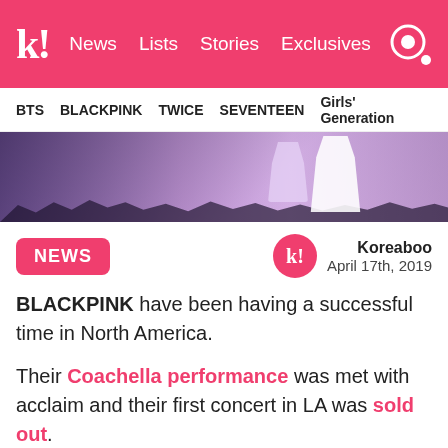k! News Lists Stories Exclusives
BTS BLACKPINK TWICE SEVENTEEN Girls' Generation
[Figure (photo): Concert performance photo showing performer in white outfit with purple background and crowd silhouettes]
NEWS
Koreaboo
April 17th, 2019
BLACKPINK have been having a successful time in North America.
Their Coachella performance was met with acclaim and their first concert in LA was sold out.
As per usual, the girls received much attention